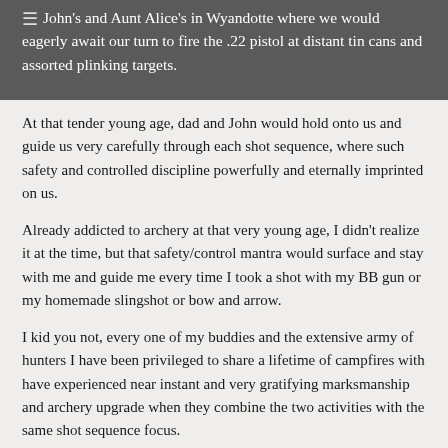John's and Aunt Alice's in Wyandotte where we would eagerly await our turn to fire the .22 pistol at distant tin cans and assorted plinking targets.
At that tender young age, dad and John would hold onto us and guide us very carefully through each shot sequence, where such safety and controlled discipline powerfully and eternally imprinted on us.
Already addicted to archery at that very young age, I didn't realize it at the time, but that safety/control mantra would surface and stay with me and guide me every time I took a shot with my BB gun or my homemade slingshot or bow and arrow.
I kid you not, every one of my buddies and the extensive army of hunters I have been privileged to share a lifetime of campfires with have experienced near instant and very gratifying marksmanship and archery upgrade when they combine the two activities with the same shot sequence focus.
Many military and law enforcement buddies who took up